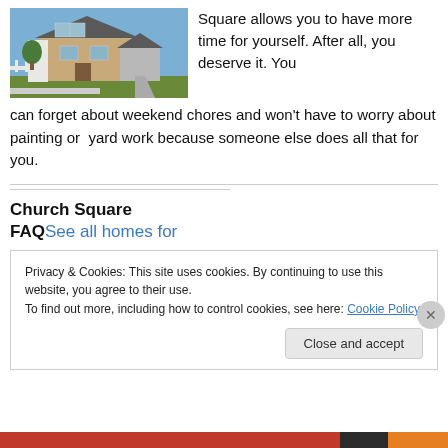[Figure (photo): Exterior photo of a brick/siding house with blue sky and landscaping in the foreground]
Square allows you to have more time for yourself. After all, you deserve it. You can forget about weekend chores and won't have to worry about painting or yard work because someone else does all that for you.
Church Square
FAQ See all homes for
Privacy & Cookies: This site uses cookies. By continuing to use this website, you agree to their use.
To find out more, including how to control cookies, see here: Cookie Policy
Close and accept